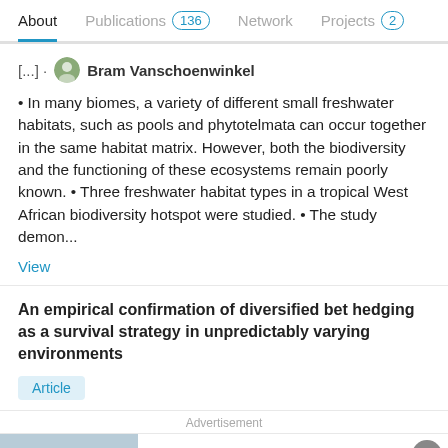About | Publications 136 | Network | Projects 2
[...] · Bram Vanschoenwinkel
• In many biomes, a variety of different small freshwater habitats, such as pools and phytotelmata can occur together in the same habitat matrix. However, both the biodiversity and the functioning of these ecosystems remain poorly known. • Three freshwater habitat types in a tropical West African biodiversity hotspot were studied. • The study demon...
View
An empirical confirmation of diversified bet hedging as a survival strategy in unpredictably varying environments
Article
Advertisement
ResearchGate
Are you recruiting experts in medicine?